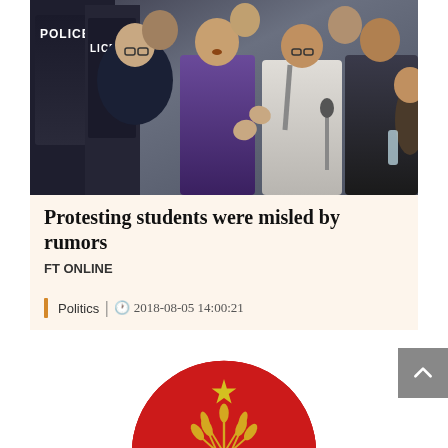[Figure (photo): Photo of protesting students surrounded by police officers in tactical vests labeled POLICE; a crowd of young men, some speaking or gesturing, in an indoor or semi-indoor setting.]
Protesting students were misled by rumors
FT ONLINE
Politics | 2018-08-05 14:00:21
[Figure (logo): BNP (Bangladesh Nationalist Party) circular logo: red upper half with yellow star and golden wheat/paddy sheaf, black gear/cog at bottom, green lower band.]